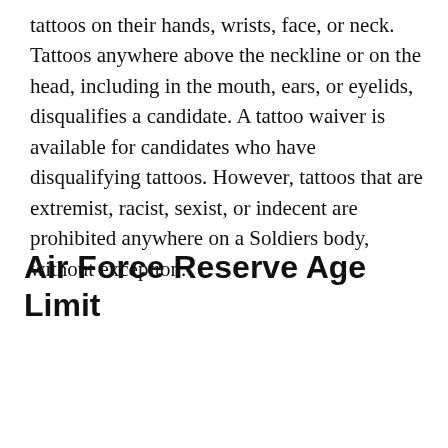tattoos on their hands, wrists, face, or neck. Tattoos anywhere above the neckline or on the head, including in the mouth, ears, or eyelids, disqualifies a candidate. A tattoo waiver is available for candidates who have disqualifying tattoos. However, tattoos that are extremist, racist, sexist, or indecent are prohibited anywhere on a Soldiers body, without exception.
Air Force Reserve Age Limit
[Figure (screenshot): Twitter/social media post screenshot showing @foreverjeonjk with stacked avatar images, and tweet text: 'bts enlistment / jin – 2020']